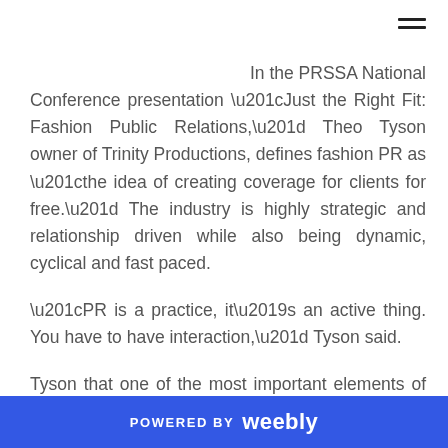In the PRSSA National Conference presentation “Just the Right Fit: Fashion Public Relations,” Theo Tyson owner of Trinity Productions, defines fashion PR as “the idea of creating coverage for clients for free.” The industry is highly strategic and relationship driven while also being dynamic, cyclical and fast paced.
“PR is a practice, it’s an active thing. You have to have interaction,” Tyson said.
Tyson that one of the most important elements of fashion PR is brand ethos. This is not only knowing the
POWERED BY weebly